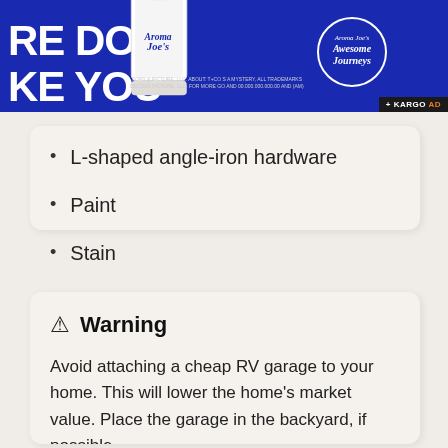[Figure (other): Advertisement banner for Aroma Joe's Awesome Journeys on a dark blue background with a coffee cup image and logo]
L-shaped angle-iron hardware
Paint
Stain
Electrician
⚠ Warning
Avoid attaching a cheap RV garage to your home. This will lower the home's market value. Place the garage in the backyard, if possible.